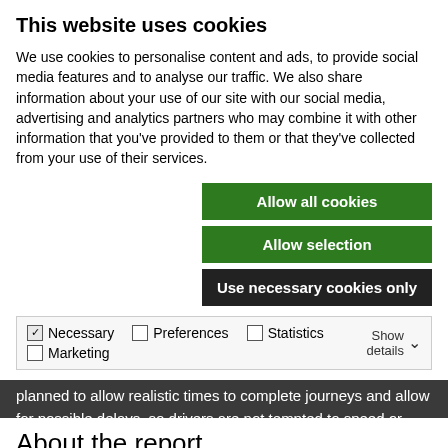This website uses cookies
We use cookies to personalise content and ads, to provide social media features and to analyse our traffic. We also share information about your use of our site with our social media, advertising and analytics partners who may combine it with other information that you've provided to them or that they've collected from your use of their services.
Allow all cookies
Allow selection
Use necessary cookies only
| Necessary | Preferences | Statistics | Marketing | Show details |
| --- | --- | --- | --- | --- |
residential areas and schools, as there are likely to be lots of vulnerable road users in these areas. Schedules should be planned to allow realistic times to complete journeys and allow for possible delays, so drivers are not tempted to speed or take risks.
About the report
The survey results come from Brake and Licence Bureau's Fleet